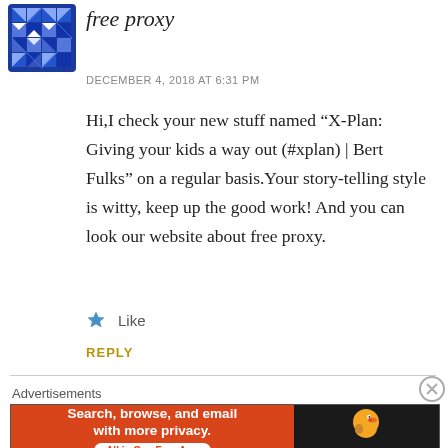[Figure (illustration): Blue and white geometric/abstract avatar icon (quilt-like pattern)]
free proxy
DECEMBER 4, 2018 AT 6:31 PM
Hi,I check your new stuff named “X-Plan: Giving your kids a way out (#xplan) | Bert Fulks” on a regular basis.Your story-telling style is witty, keep up the good work! And you can look our website about free proxy.
★ Like
REPLY
Advertisements
[Figure (screenshot): DuckDuckGo advertisement banner: orange left section with text 'Search, browse, and email with more privacy. All in One Free App' and dark right section with DuckDuckGo logo]